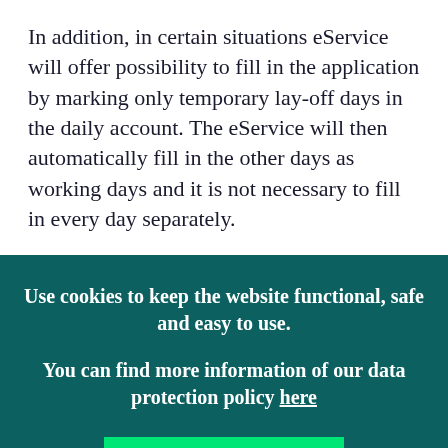In addition, in certain situations eService will offer possibility to fill in the application by marking only temporary lay-off days in the daily account. The eService will then automatically fill in the other days as working days and it is not necessary to fill in every day separately.
Use cookies to keep the website functional, safe and easy to use.
You can find more information of our data protection policy here
OK